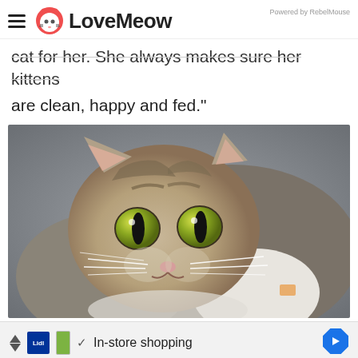LoveMeow — Powered by RebelMouse
cat for her. She always makes sure her kittens are clean, happy and fed."
[Figure (photo): Close-up photo of a tabby kitten with green eyes and white whiskers, looking at the camera against a grey background.]
✓ In-store shopping